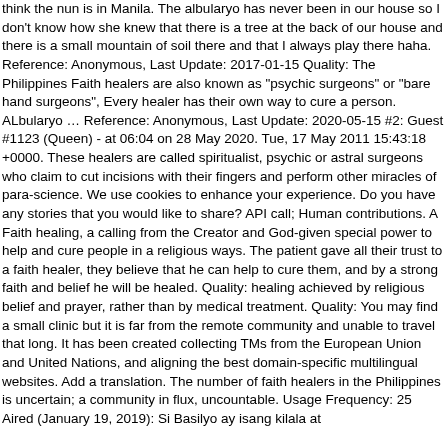think the nun is in Manila. The albularyo has never been in our house so I don't know how she knew that there is a tree at the back of our house and there is a small mountain of soil there and that I always play there haha. Reference: Anonymous, Last Update: 2017-01-15 Quality: The Philippines Faith healers are also known as "psychic surgeons" or "bare hand surgeons", Every healer has their own way to cure a person. ALbularyo … Reference: Anonymous, Last Update: 2020-05-15 #2: Guest #1123 (Queen) - at 06:04 on 28 May 2020. Tue, 17 May 2011 15:43:18 +0000. These healers are called spiritualist, psychic or astral surgeons who claim to cut incisions with their fingers and perform other miracles of para-science. We use cookies to enhance your experience. Do you have any stories that you would like to share? API call; Human contributions. A Faith healing, a calling from the Creator and God-given special power to help and cure people in a religious ways. The patient gave all their trust to a faith healer, they believe that he can help to cure them, and by a strong faith and belief he will be healed. Quality: healing achieved by religious belief and prayer, rather than by medical treatment. Quality: You may find a small clinic but it is far from the remote community and unable to travel that long. It has been created collecting TMs from the European Union and United Nations, and aligning the best domain-specific multilingual websites. Add a translation. The number of faith healers in the Philippines is uncertain; a community in flux, uncountable. Usage Frequency: 25 Aired (January 19, 2019): Si Basilyo ay isang kilala at